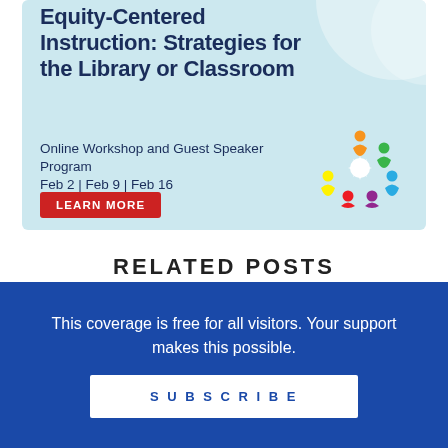[Figure (infographic): Promotional banner with light blue background. Title reads 'Equity-Centered Instruction: Strategies for the Library or Classroom'. Subtitle: 'Online Workshop and Guest Speaker Program Feb 2 | Feb 9 | Feb 16'. Red 'LEARN MORE' button. Circular colorful people/hands logo on right.]
RELATED POSTS
JUNE 2022
Mock Newbery Update: Our List of First
This coverage is free for all visitors. Your support makes this possible.
SUBSCRIBE